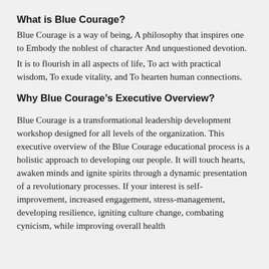What is Blue Courage?
Blue Courage is a way of being, A philosophy that inspires one to Embody the noblest of character And unquestioned devotion.
It is to flourish in all aspects of life, To act with practical wisdom, To exude vitality, and To hearten human connections.
Why Blue Courage’s Executive Overview?
Blue Courage is a transformational leadership development workshop designed for all levels of the organization. This executive overview of the Blue Courage educational process is a holistic approach to developing our people. It will touch hearts, awaken minds and ignite spirits through a dynamic presentation of a revolutionary processes. If your interest is self-improvement, increased engagement, stress-management, developing resilience, igniting culture change, combating cynicism, while improving overall health